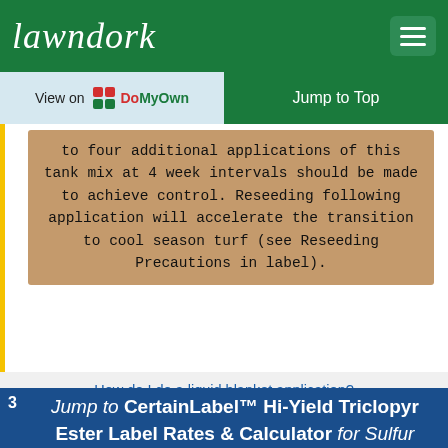lawndork
View on DoMyOwn
Jump to Top
to four additional applications of this tank mix at 4 week intervals should be made to achieve control. Reseeding following application will accelerate the transition to cool season turf (see Reseeding Precautions in label).
How do I do a liquid blanket application?
3
Jump to CertainLabel™ Hi-Yield Triclopyr Ester Label Rates & Calculator for Sulfur Cinquefoil